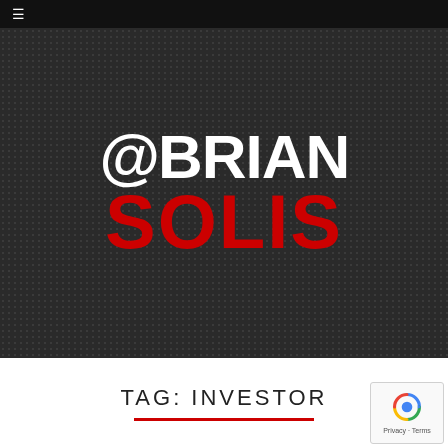≡
[Figure (logo): @BRIAN SOLIS logo on dark dotted background. '@BRIAN' in white bold uppercase text and 'SOLIS' in red bold uppercase text below it.]
TAG: INVESTOR